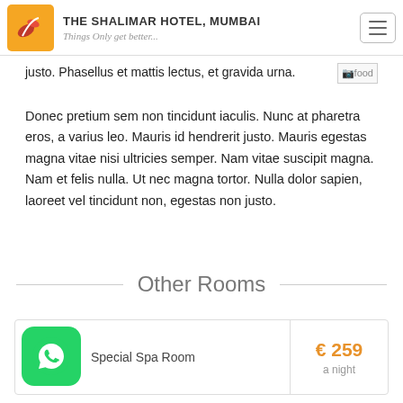THE SHALIMAR HOTEL, MUMBAI — Things Only get better...
justo. Phasellus et mattis lectus, et gravida urna.
Donec pretium sem non tincidunt iaculis. Nunc at pharetra eros, a varius leo. Mauris id hendrerit justo. Mauris egestas magna vitae nisi ultricies semper. Nam vitae suscipit magna. Nam et felis nulla. Ut nec magna tortor. Nulla dolor sapien, laoreet vel tincidunt non, egestas non justo.
Other Rooms
Special Spa Room
€ 259 a night